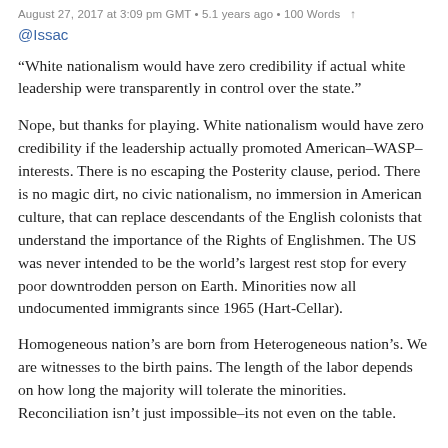August 27, 2017 at 3:09 pm GMT • 5.1 years ago • 100 Words
@Issac
“White nationalism would have zero credibility if actual white leadership were transparently in control over the state.”
Nope, but thanks for playing. White nationalism would have zero credibility if the leadership actually promoted American–WASP–interests. There is no escaping the Posterity clause, period. There is no magic dirt, no civic nationalism, no immersion in American culture, that can replace descendants of the English colonists that understand the importance of the Rights of Englishmen. The US was never intended to be the world’s largest rest stop for every poor downtrodden person on Earth. Minorities now all undocumented immigrants since 1965 (Hart-Cellar).
Homogeneous nation’s are born from Heterogeneous nation’s. We are witnesses to the birth pains. The length of the labor depends on how long the majority will tolerate the minorities. Reconciliation isn’t just impossible–its not even on the table.